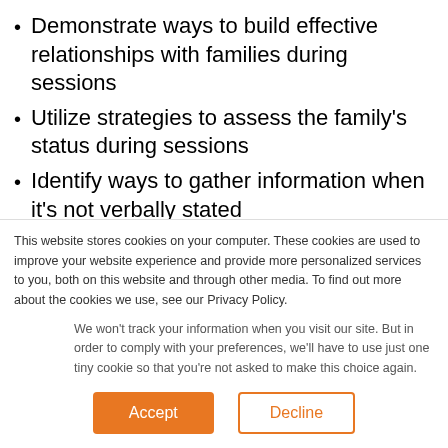Demonstrate ways to build effective relationships with families during sessions
Utilize strategies to assess the family's status during sessions
Identify ways to gather information when it's not verbally stated
Determine ways to remain respectful of a family's cultural differences
Describe expectations that need to be (partially visible)
This website stores cookies on your computer. These cookies are used to improve your website experience and provide more personalized services to you, both on this website and through other media. To find out more about the cookies we use, see our Privacy Policy.
We won't track your information when you visit our site. But in order to comply with your preferences, we'll have to use just one tiny cookie so that you're not asked to make this choice again.